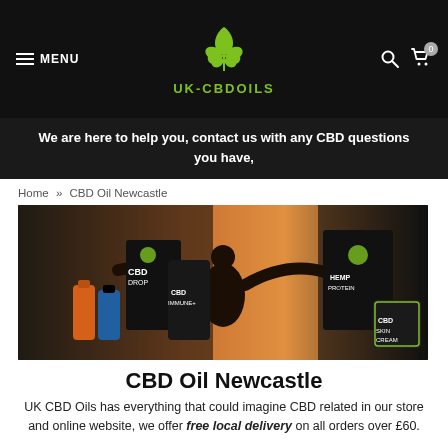MENU  UK-CBDOILS  [search] [cart 0]
We are here to help you, contact us with any CBD questions you have,
Home » CBD Oil Newcastle
[Figure (photo): Banner image showing UK CBD Oils products: CBD drops, CBD Immune+, Hemp Protein, CBD Skin Cream, and various oil bottles, with a silhouette of a person with arms outstretched against a sunrise background.]
CBD Oil Newcastle
UK CBD Oils has everything that could imagine CBD related in our store and online website, we offer free local delivery on all orders over £60.